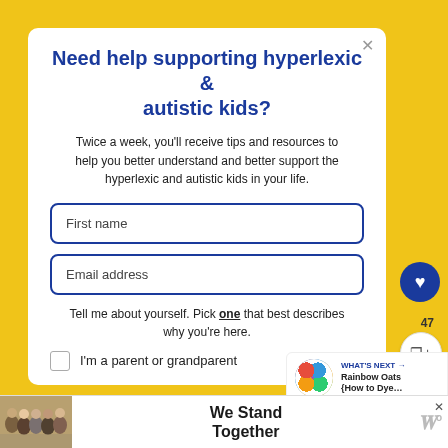Need help supporting hyperlexic & autistic kids?
Twice a week, you'll receive tips and resources to help you better understand and better support the hyperlexic and autistic kids in your life.
First name
Email address
Tell me about yourself. Pick one that best describes why you're here.
I'm a parent or grandparent
[Figure (other): What's Next panel with Rainbow Oats How to Dye... thumbnail]
[Figure (other): We Stand Together advertisement banner with group photo]